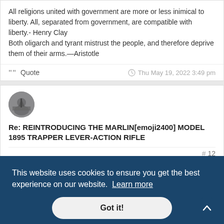All religions united with government are more or less inimical to liberty. All, separated from government, are compatible with liberty.- Henry Clay
Both oligarch and tyrant mistrust the people, and therefore deprive them of their arms.—Aristotle
Quote   Thu May 19, 2022 3:49 pm
[Figure (photo): User avatar - small circular profile photo]
Re: REINTRODUCING THE MARLIN[emoji2400] MODEL 1895 TRAPPER LEVER-ACTION RIFLE
# 12
...st of
This website uses cookies to ensure you get the best experience on our website. Learn more
Got it!
Sent from my iPhone using Tapatalk